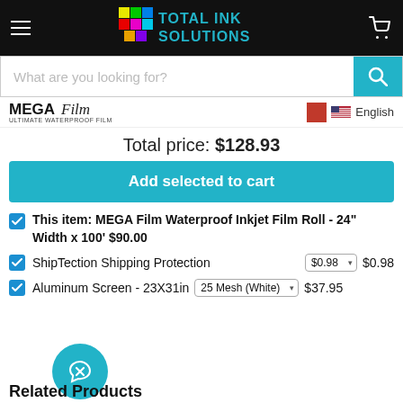[Figure (logo): Total Ink Solutions logo with colorful squares and text in header]
What are you looking for?
[Figure (logo): MEGA Film - Ultimate Waterproof Film brand logo]
English
Total price: $128.93
Add selected to cart
This item: MEGA Film Waterproof Inkjet Film Roll - 24" Width x 100'  $90.00
ShipTection Shipping Protection  $0.98  $0.98
Aluminum Screen - 23X31in  25 Mesh (White)  $37.95
Related Products